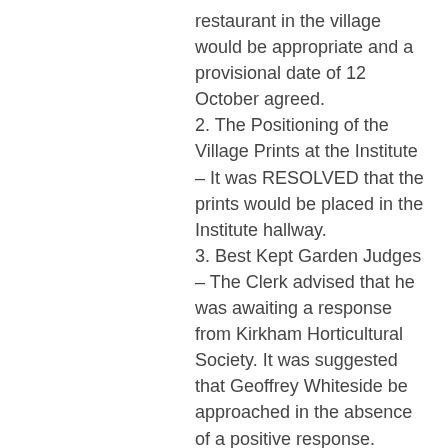restaurant in the village would be appropriate and a provisional date of 12 October agreed.
2. The Positioning of the Village Prints at the Institute – It was RESOLVED that the prints would be placed in the Institute hallway.
3. Best Kept Garden Judges – The Clerk advised that he was awaiting a response from Kirkham Horticultural Society. It was suggested that Geoffrey Whiteside be approached in the absence of a positive response.
13/27 PLANNING MATTERS
1. Applications:-
12/0217  White House, Ribby Road
Proposed Variation of Condition 10 of Planning Permission 09/0396
To Allow Retention of Double Garage